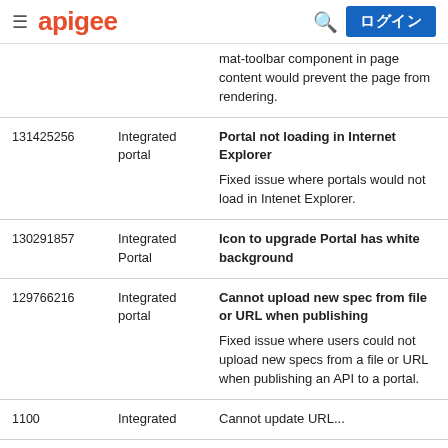apigee  ログイン
| ID | Component | Description |
| --- | --- | --- |
|  |  | mat-toolbar component in page content would prevent the page from rendering. |
| 131425256 | Integrated portal | Portal not loading in Internet Explorer

Fixed issue where portals would not load in Intenet Explorer. |
| 130291857 | Integrated Portal | Icon to upgrade Portal has white background |
| 129766216 | Integrated portal | Cannot upload new spec from file or URL when publishing

Fixed issue where users could not upload new specs from a file or URL when publishing an API to a portal. |
| 1100... | Integrated... | Cannot update URL... |